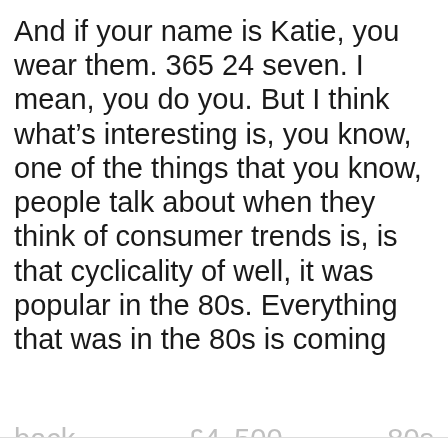And if your name is Katie, you wear them. 365 24 seven. I mean, you do you. But I think what's interesting is, you know, one of the things that you know, people talk about when they think of consumer trends is, is that cyclicality of well, it was popular in the 80s. Everything that was in the 80s is coming
This website stores cookies on your computer. These cookies are used to collect information about how you interact with our website and allow us to remember you. We use this information in order to improve and customize your browsing experience and for analytics and metrics about our visitors both on this website and other media. To find out more about the cookies we use, see our Privacy Policy.
If you decline, your information won't be tracked when you visit this website. A single cookie will be used in your browser to remember your preference not to be tracked.
Accept
Decline